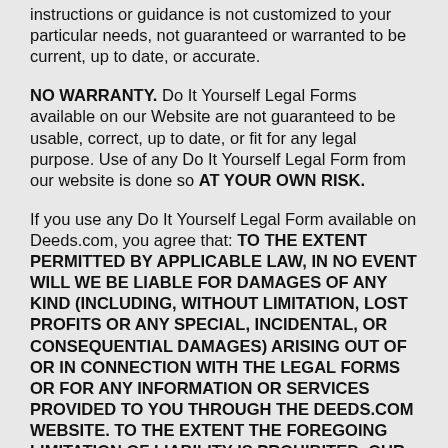instructions or guidance is not customized to your particular needs, not guaranteed or warranted to be current, up to date, or accurate.
NO WARRANTY. Do It Yourself Legal Forms available on our Website are not guaranteed to be usable, correct, up to date, or fit for any legal purpose. Use of any Do It Yourself Legal Form from our website is done so AT YOUR OWN RISK.
If you use any Do It Yourself Legal Form available on Deeds.com, you agree that: TO THE EXTENT PERMITTED BY APPLICABLE LAW, IN NO EVENT WILL WE BE LIABLE FOR DAMAGES OF ANY KIND (INCLUDING, WITHOUT LIMITATION, LOST PROFITS OR ANY SPECIAL, INCIDENTAL, OR CONSEQUENTIAL DAMAGES) ARISING OUT OF OR IN CONNECTION WITH THE LEGAL FORMS OR FOR ANY INFORMATION OR SERVICES PROVIDED TO YOU THROUGH THE DEEDS.COM WEBSITE. TO THE EXTENT THE FOREGOING LIMITATION OF LIABILITY IS PROHIBITED, OUR SOLE OBLIGATION TO YOU FOR DAMAGES WILL BE LIMITED TO $100.00.